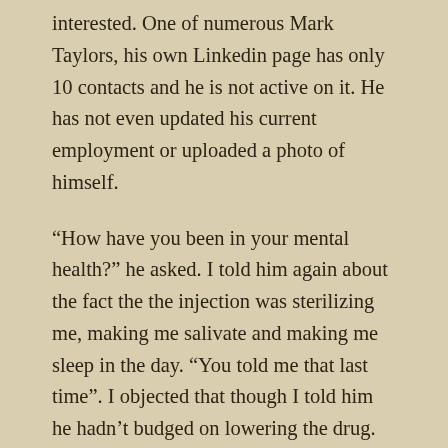interested. One of numerous Mark Taylors, his own Linkedin page has only 10 contacts and he is not active on it. He has not even updated his current employment or uploaded a photo of himself.
“How have you been in your mental health?” he asked. I told him again about the fact the the injection was sterilizing me, making me salivate and making me sleep in the day. “You told me that last time”. I objected that though I told him he hadn’t budged on lowering the drug.
I told him that I had been watching YouTube clips of psychiatrists who were much more critical of the overuse of psychiatric drugs than himself. “Oh good” he said again. I named Daniel Carlat (who he had not heard